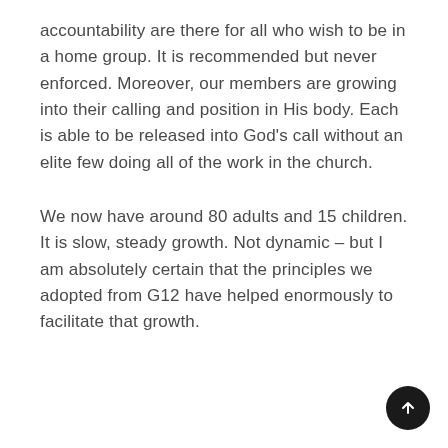accountability are there for all who wish to be in a home group. It is recommended but never enforced. Moreover, our members are growing into their calling and position in His body. Each is able to be released into God's call without an elite few doing all of the work in the church.
We now have around 80 adults and 15 children. It is slow, steady growth. Not dynamic – but I am absolutely certain that the principles we adopted from G12 have helped enormously to facilitate that growth.